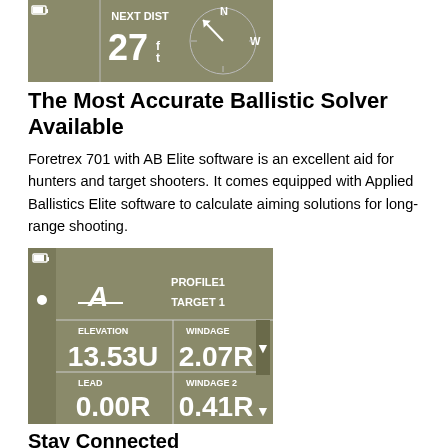[Figure (screenshot): GPS device screen showing NEXT DIST 27ft and a compass pointing NW]
The Most Accurate Ballistic Solver Available
Foretrex 701 with AB Elite software is an excellent aid for hunters and target shooters. It comes equipped with Applied Ballistics Elite software to calculate aiming solutions for long-range shooting.
[Figure (screenshot): Ballistic solver screen showing PROFILE1 TARGET 1, ELEVATION 13.53U, WINDAGE 2.07R, LEAD 0.00R, WINDAGE 2 0.41R]
Stay Connected
Smart notifications¹ — available on both devices — let you receive emails, texts and alerts from your mobile device right on your wrist.